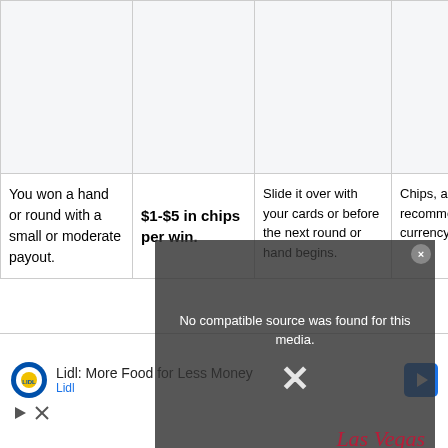|  |  |  |  |
| You won a hand or round with a small or moderate payout. | $1-$5 in chips per win. | Slide it over with your cards or before the next round or hand begins. | Chips, as are the recommended currency for tips in ca... |
[Figure (screenshot): Video player overlay showing 'No compatible source was found for this media.' message with an X close button and Las Vegas watermark text in red italic script.]
[Figure (screenshot): Advertisement banner: Lidl: More Food for Less Money, with Lidl logo, navigation icon, play button, and close X button.]